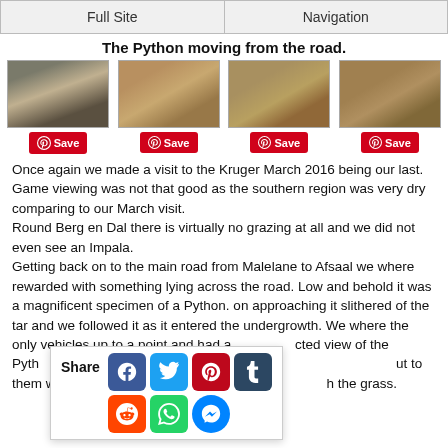Full Site | Navigation
The Python moving from the road.
[Figure (photo): Four sequential photos of a python moving off a road into dry grass/undergrowth in the Kruger Park]
Once again we made a visit to the Kruger March 2016 being our last.
Game viewing was not that good as the southern region was very dry comparing to our March visit.
Round Berg en Dal there is virtually no grazing at all and we did not even see an Impala.
Getting back on to the main road from Malelane to Afsaal we where rewarded with something lying across the road. Low and behold it was a magnificent specimen of a Python. on approaching it slithered of the tar and we followed it as it entered the undergrowth. We where the only vehicles up to a point and had an unobstructed view of the Python. With the arrival of other vehicles we pointed it out to them with the only visable part was its head hidden in the grass.